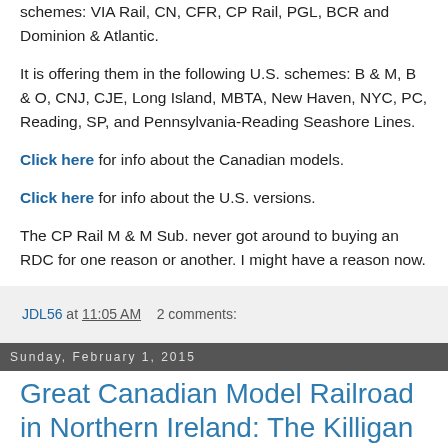schemes: VIA Rail, CN, CFR, CP Rail, PGL, BCR and Dominion & Atlantic.
It is offering them in the following U.S. schemes: B & M, B & O, CNJ, CJE, Long Island, MBTA, New Haven, NYC, PC, Reading, SP, and Pennsylvania-Reading Seashore Lines.
Click here for info about the Canadian models.
Click here for info about the U.S. versions.
The CP Rail M & M Sub. never got around to buying an RDC for one reason or another. I might have a reason now.
JDL56 at 11:05 AM    2 comments:
Sunday, February 1, 2015
Great Canadian Model Railroad in Northern Ireland: The Killigan Valley